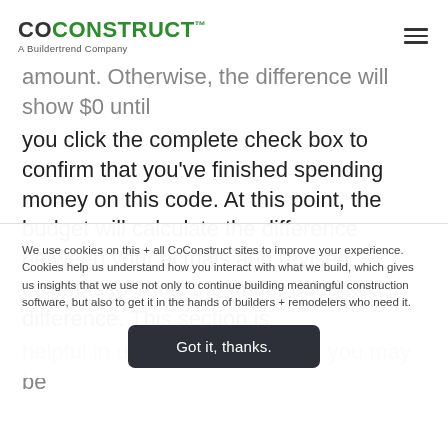COCONSTRUCT™ A Buildertrend Company
amount. Otherwise, the difference will show $0 until you click the complete check box to confirm that you've finished spending money on this code. At this point, the budget will calculate the difference between your actuals and revised columns to show the under budgeted difference. This section is helpful in understanding where you may be
We use cookies on this + all CoConstruct sites to improve your experience. Cookies help us understand how you interact with what we build, which gives us insights that we use not only to continue building meaningful construction software, but also to get it in the hands of builders + remodelers who need it.
Got it, thanks.